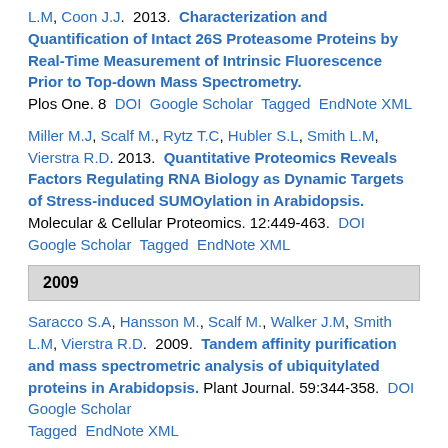L.M, Coon J.J.  2013.  Characterization and Quantification of Intact 26S Proteasome Proteins by Real-Time Measurement of Intrinsic Fluorescence Prior to Top-down Mass Spectrometry.  Plos One. 8  DOI  Google Scholar  Tagged  EndNote XML
Miller M.J, Scalf M., Rytz T.C, Hubler S.L, Smith L.M, Vierstra R.D. 2013.  Quantitative Proteomics Reveals Factors Regulating RNA Biology as Dynamic Targets of Stress-induced SUMOylation in Arabidopsis. Molecular & Cellular Proteomics. 12:449-463. DOI  Google Scholar  Tagged  EndNote XML
2009
Saracco S.A, Hansson M., Scalf M., Walker J.M, Smith L.M, Vierstra R.D.  2009.  Tandem affinity purification and mass spectrometric analysis of ubiquitylated proteins in Arabidopsis. Plant Journal. 59:344-358. DOI  Google Scholar  Tagged  EndNote XML
2005